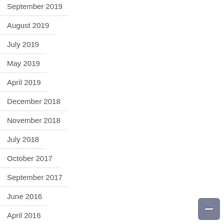September 2019
August 2019
July 2019
May 2019
April 2019
December 2018
November 2018
July 2018
October 2017
September 2017
June 2016
April 2016
October 2015
January 2015
March 2014